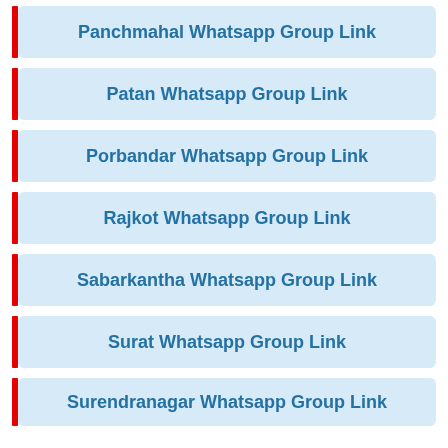Panchmahal Whatsapp Group Link
Patan Whatsapp Group Link
Porbandar Whatsapp Group Link
Rajkot Whatsapp Group Link
Sabarkantha Whatsapp Group Link
Surat Whatsapp Group Link
Surendranagar Whatsapp Group Link